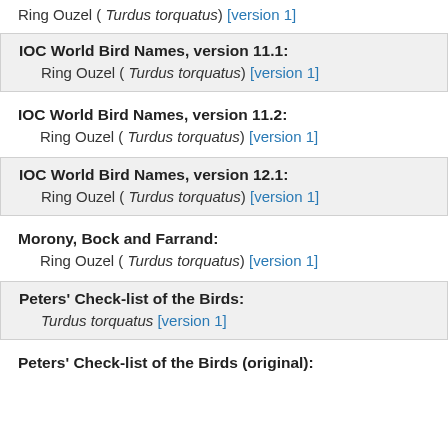Ring Ouzel ( Turdus torquatus) [version 1]
IOC World Bird Names, version 11.1:
Ring Ouzel ( Turdus torquatus) [version 1]
IOC World Bird Names, version 11.2:
Ring Ouzel ( Turdus torquatus) [version 1]
IOC World Bird Names, version 12.1:
Ring Ouzel ( Turdus torquatus) [version 1]
Morony, Bock and Farrand:
Ring Ouzel ( Turdus torquatus) [version 1]
Peters' Check-list of the Birds:
Turdus torquatus [version 1]
Peters' Check-list of the Birds (original):